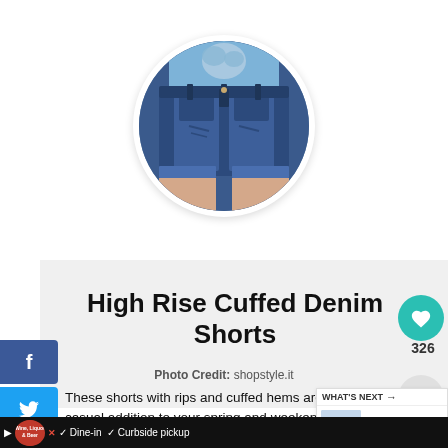[Figure (photo): Circular cropped photo of a person wearing high rise cuffed denim shorts, viewed from behind, with a light blue shirt tied at the waist.]
High Rise Cuffed Denim Shorts
Photo Credit: shopstyle.it
These shorts with rips and cuffed hems are a comfy, casual addition to your spring and weekend rotation.
[Figure (infographic): What's Next panel showing Long Weekend Getaway Ideas]
[Figure (infographic): Bottom advertisement bar: Wine Liquor & Beer ad with Dine-in and Curbside pickup text]